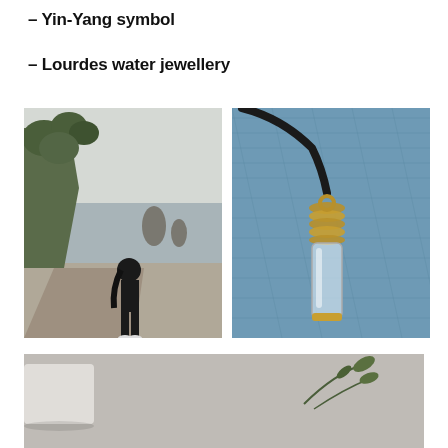– Yin-Yang symbol
– Lourdes water jewellery
[Figure (photo): Woman standing on a coastal cliff trail facing the ocean, with trees and rock formations in the background. Overcast sky.]
[Figure (photo): Close-up of a small glass vial pendant on a dark cord with gold metal wrapping, resting on blue denim fabric.]
[Figure (photo): Partial view of a flat lay scene with plant sprigs on a grey surface.]